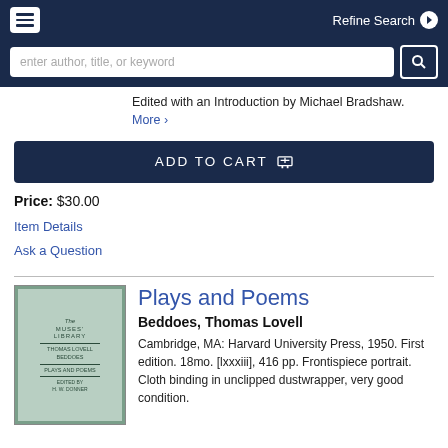☰  Refine Search ▶
enter author, title, or keyword
Edited with an Introduction by Michael Bradshaw. More ›
ADD TO CART 🛒
Price: $30.00
Item Details
Ask a Question
Plays and Poems
Beddoes, Thomas Lovell
Cambridge, MA: Harvard University Press, 1950. First edition. 18mo. [lxxxiii], 416 pp. Frontispiece portrait. Cloth binding in unclipped dustwrapper, very good condition.